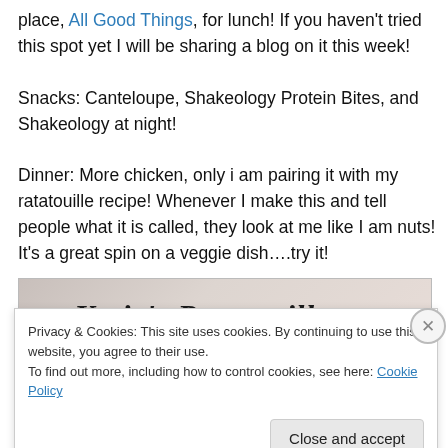place, All Good Things, for lunch! If you haven't tried this spot yet I will be sharing a blog on it this week!
Snacks: Canteloupe, Shakeology Protein Bites, and Shakeology at night!
Dinner: More chicken, only i am pairing it with my ratatouille recipe! Whenever I make this and tell people what it is called, they look at me like I am nuts! It's a great spin on a veggie dish….try it!
[Figure (photo): Photo of a recipe card showing 'Katie's Ratatouille' in bold italic text]
Privacy & Cookies: This site uses cookies. By continuing to use this website, you agree to their use. To find out more, including how to control cookies, see here: Cookie Policy
Close and accept